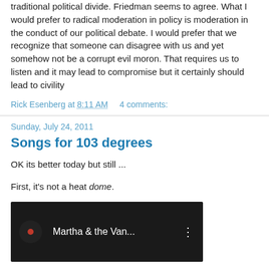traditional political divide. Friedman seems to agree. What I would prefer to radical moderation in policy is moderation in the conduct of our political debate. I would prefer that we recognize that someone can disagree with us and yet somehow not be a corrupt evil moron. That requires us to listen and it may lead to compromise but it certainly should lead to civility
Rick Esenberg at 8:11 AM     4 comments:
Sunday, July 24, 2011
Songs for 103 degrees
OK its better today but still ...
First, it's not a heat dome.
[Figure (screenshot): Video thumbnail showing dark background with a circular icon with red dot on the left, text 'Martha & the Van...' in white, and a vertical three-dot menu icon on the right.]